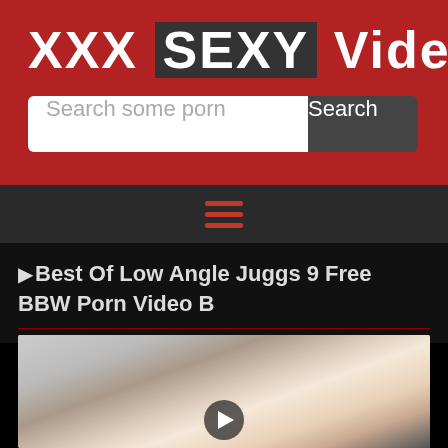XXX SEXY Videos
Search some porn
[Figure (screenshot): Navigation hamburger menu icon with three red horizontal lines on dark gray background]
▶Best Of Low Angle Juggs 9 Free BBW Porn Video B
[Figure (photo): Video thumbnail showing a low-angle fisheye view of a blonde woman in a white room, with a play button overlay at the bottom center]